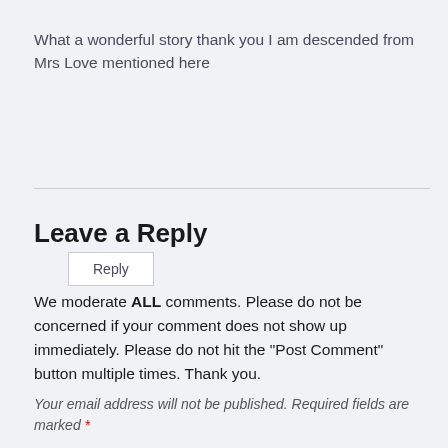What a wonderful story thank you I am descended from Mrs Love mentioned here
Reply
Leave a Reply
We moderate ALL comments. Please do not be concerned if your comment does not show up immediately. Please do not hit the "Post Comment" button multiple times. Thank you.
Your email address will not be published. Required fields are marked *